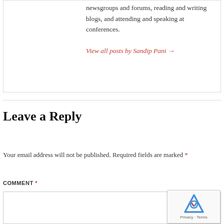newsgroups and forums, reading and writing blogs, and attending and speaking at conferences.
View all posts by Sandip Pani →
Leave a Reply
Your email address will not be published. Required fields are marked *
COMMENT *